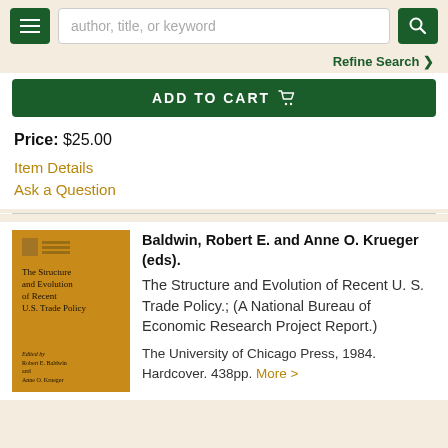author, title, or keyword
Refine Search
ADD TO CART
Price: $25.00
Item Details
Ask a Question
[Figure (illustration): Book cover: orange/yellow cover with title 'The Structure and Evolution of Recent U.S. Trade Policy', edited by Robert E. Baldwin and Anne O. Krueger]
Baldwin, Robert E. and Anne O. Krueger (eds). The Structure and Evolution of Recent U. S. Trade Policy.; (A National Bureau of Economic Research Project Report.) The University of Chicago Press, 1984. Hardcover. 438pp. More >